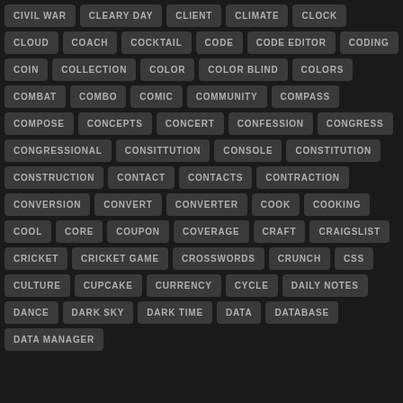CIVIL WAR
CLEARY DAY
CLIENT
CLIMATE
CLOCK
CLOUD
COACH
COCKTAIL
CODE
CODE EDITOR
CODING
COIN
COLLECTION
COLOR
COLOR BLIND
COLORS
COMBAT
COMBO
COMIC
COMMUNITY
COMPASS
COMPOSE
CONCEPTS
CONCERT
CONFESSION
CONGRESS
CONGRESSIONAL
CONSITTUTION
CONSOLE
CONSTITUTION
CONSTRUCTION
CONTACT
CONTACTS
CONTRACTION
CONVERSION
CONVERT
CONVERTER
COOK
COOKING
COOL
CORE
COUPON
COVERAGE
CRAFT
CRAIGSLIST
CRICKET
CRICKET GAME
CROSSWORDS
CRUNCH
CSS
CULTURE
CUPCAKE
CURRENCY
CYCLE
DAILY NOTES
DANCE
DARK SKY
DARK TIME
DATA
DATABASE
DATA MANAGER